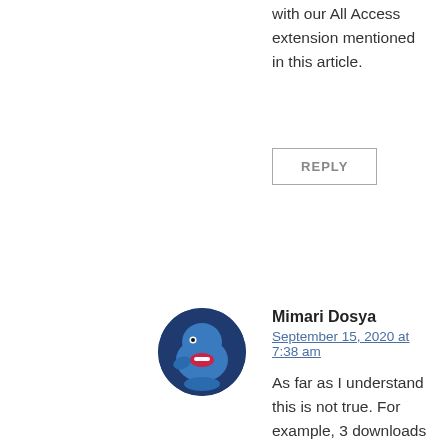with our All Access extension mentioned in this article.
REPLY
[Figure (illustration): Round avatar icon with a blue cartoon dolphin/whale character with a red mouth, on a dark blue circular background]
Mimari Dosya
September 15, 2020 at 7:38 am
As far as I understand this is not true. For example, 3 downloads per day are available. When the download right is exhausted, the button does not turn into “add to card”. The button continues to write “Download Now”. When the daily download is over, the normal single product is not purchased.